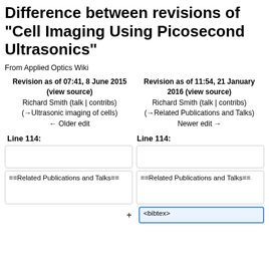Difference between revisions of "Cell Imaging Using Picosecond Ultrasonics"
From Applied Optics Wiki
Revision as of 07:41, 8 June 2015 (view source)
Richard Smith (talk | contribs)
(→Ultrasonic imaging of cells)
← Older edit
Revision as of 11:54, 21 January 2016 (view source)
Richard Smith (talk | contribs)
(→Related Publications and Talks)
Newer edit →
Line 114:
Line 114:
==Related Publications and Talks==
==Related Publications and Talks==
<bibtex>